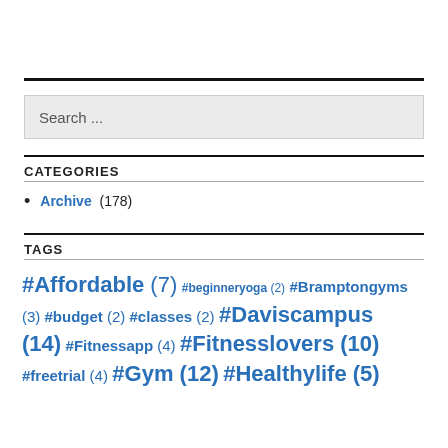Search ...
CATEGORIES
Archive (178)
TAGS
#Affordable (7) #beginneryoga (2) #Bramptongyms (3) #budget (2) #classes (2) #Daviscampus (14) #Fitnessapp (4) #Fitnesslovers (10) #freetrial (4) #Gym (12) #Healthylife (5)